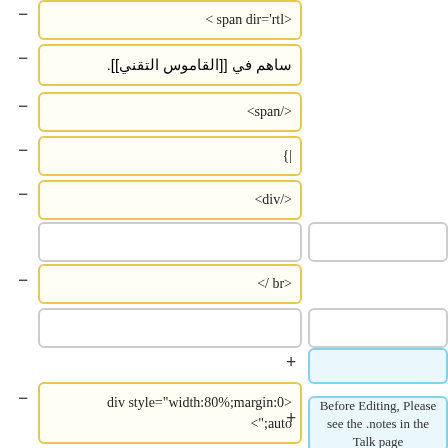< span dir='rtl>
ساهم في [[القاموس التقني]].
<span/>
{|
<div/>
</ br>
div style="width:80%;margin:0>
<";auto
Before Editing, Please see the notes in the Talk page.